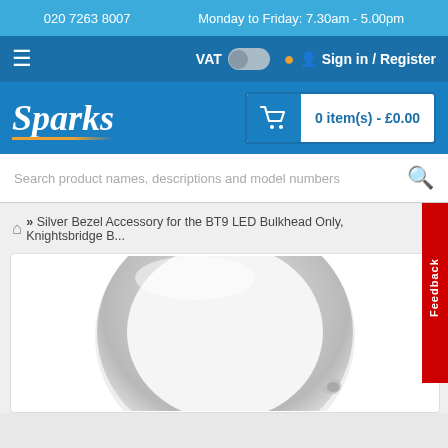020 7263 8007   Monday to Friday: 7.30am - 5.00pm
[Figure (screenshot): Navigation bar with hamburger menu, VAT toggle switch, and Sign in / Register button]
[Figure (logo): Sparks logo in italic white text with orange underline accent, and shopping cart showing 0 item(s) - £0.00]
[Figure (screenshot): Search bar with placeholder text: Search product names, descriptions and model numbers]
» Silver Bezel Accessory for the BT9 LED Bulkhead Only, Knightsbridge B...
[Figure (photo): Silver circular bezel accessory for BT9 LED Bulkhead light fitting, shown from above with a satin silver finish ring]